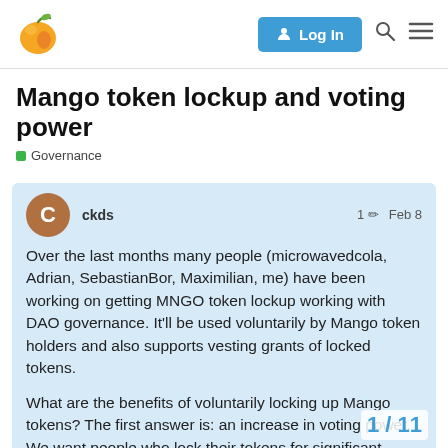Mango forum header with logo, Log In button, search and menu icons
Mango token lockup and voting power
Governance
ckds  1  Feb 8
Over the last months many people (microwavedcola, Adrian, SebastianBor, Maximilian, me) have been working on getting MNGO token lockup working with DAO governance. It'll be used voluntarily by Mango token holders and also supports vesting grants of locked tokens.

What are the benefits of voluntarily locking up Mango tokens? The first answer is: an increase in voting power. We want people who lock their tokens for significant amounts of time to have a stronger impact on DAO decisions because their incentives are more likely to be aligned with the long-tern
1 / 11